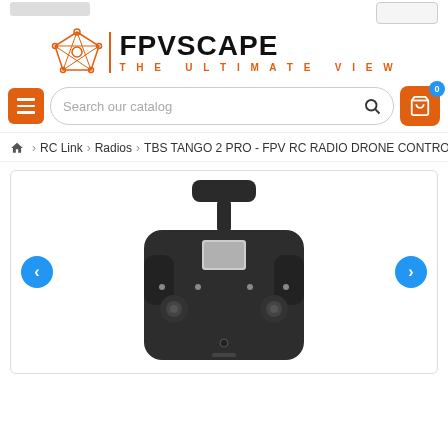FPVSCAPE - THE ULTIMATE VIEW
Search our catalog
RC Link > Radios > TBS TANGO 2 PRO - FPV RC RADIO DRONE CONTROL
[Figure (photo): FPV RC radio drone controller (TBS Tango 2 Pro) photographed from above at an angle, showing the top face with joysticks, antenna, and small screen. Black body. Navigation arrows on left and right sides of image container.]